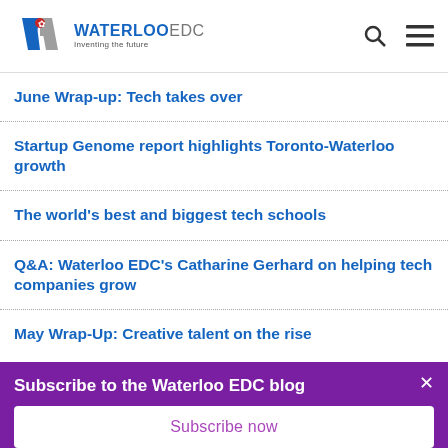WATERLOO EDC — Inventing the future
June Wrap-up: Tech takes over
Startup Genome report highlights Toronto-Waterloo growth
The world's best and biggest tech schools
Q&A: Waterloo EDC's Catharine Gerhard on helping tech companies grow
May Wrap-Up: Creative talent on the rise
Subscribe to the Waterloo EDC blog
Subscribe now